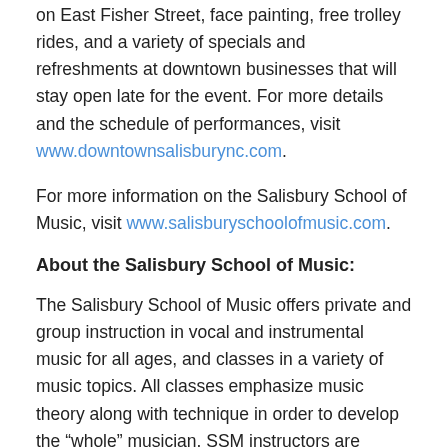on East Fisher Street, face painting, free trolley rides, and a variety of specials and refreshments at downtown businesses that will stay open late for the event. For more details and the schedule of performances, visit www.downtownsalisburync.com.
For more information on the Salisbury School of Music, visit www.salisburyschoolofmusic.com.
About the Salisbury School of Music:
The Salisbury School of Music offers private and group instruction in vocal and instrumental music for all ages, and classes in a variety of music topics. All classes emphasize music theory along with technique in order to develop the “whole” musician. SSM instructors are professional musicians and experienced teachers, most with advanced degrees in music. SSM also encourages student teachers and usually places them